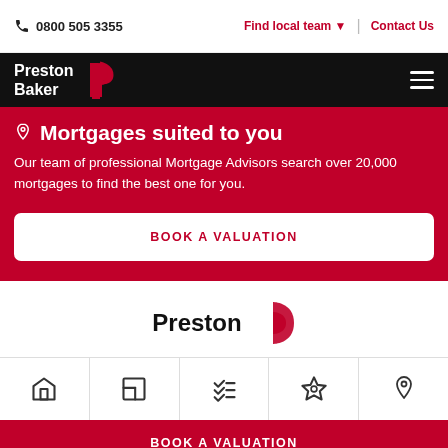0800 505 3355 | Find local team ▼ | Contact Us
[Figure (logo): Preston Baker logo on black navigation bar with hamburger menu]
Mortgages suited to you
Our team of professional Mortgage Advisors search over 20,000 mortgages to find the best one for you.
BOOK A VALUATION
[Figure (logo): Preston Baker logo partial view on white background]
[Figure (infographic): Bottom navigation icons: house, floor plan, checklist, badge/award, location pin]
BOOK A VALUATION